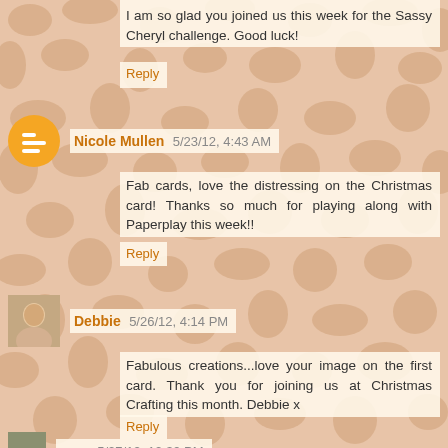I am so glad you joined us this week for the Sassy Cheryl challenge. Good luck!
Reply
Nicole Mullen 5/23/12, 4:43 AM
Fab cards, love the distressing on the Christmas card! Thanks so much for playing along with Paperplay this week!!
Reply
Debbie 5/26/12, 4:14 PM
Fabulous creations...love your image on the first card. Thank you for joining us at Christmas Crafting this month. Debbie x
Reply
meg 5/27/12, 12:39 PM